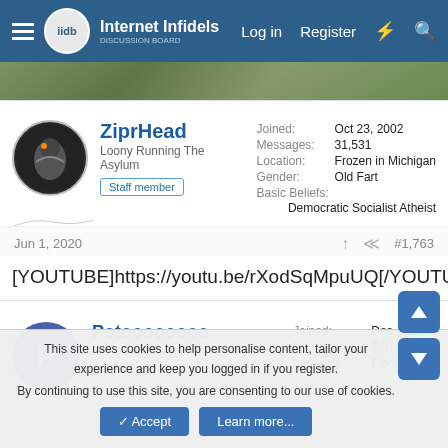Internet Infidels — Log in  Register
[Figure (photo): Banner photograph strip showing outdoor nature scene]
ZiprHead
Loony Running The Asylum
Staff member
Joined: Oct 23, 2002
Messages: 31,531
Location: Frozen in Michigan
Gender: Old Fart
Basic Beliefs: Democratic Socialist Atheist
Jun 1, 2020  #1,763
[YOUTUBE]https://youtu.be/rXodSqMpuUQ[/YOUTUBE]
Potoooooooo
Contributor
Joined: Dec 4, 2006
Messages: 6,979
Location: Floridas
This site uses cookies to help personalise content, tailor your experience and keep you logged in if you register.
By continuing to use this site, you are consenting to our use of cookies.
Accept  Learn more...